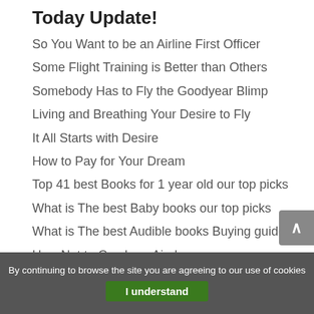Today Update!
So You Want to be an Airline First Officer
Some Flight Training is Better than Others
Somebody Has to Fly the Goodyear Blimp
Living and Breathing Your Desire to Fly
It All Starts with Desire
How to Pay for Your Dream
Top 41 best Books for 1 year old our top picks
What is The best Baby books our top picks
What is The best Audible books Buying guide
How Not to Crash an Airplane
By continuing to browse the site you are agreeing to our use of cookies
I understand